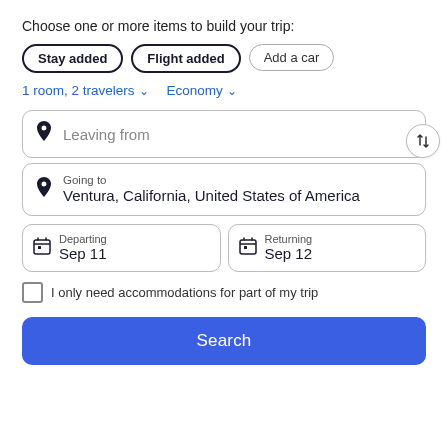Choose one or more items to build your trip:
Stay added
Flight added
Add a car
1 room, 2 travelers ↓   Economy ↓
Leaving from
Going to
Ventura, California, United States of America
Departing
Sep 11
Returning
Sep 12
I only need accommodations for part of my trip
Search